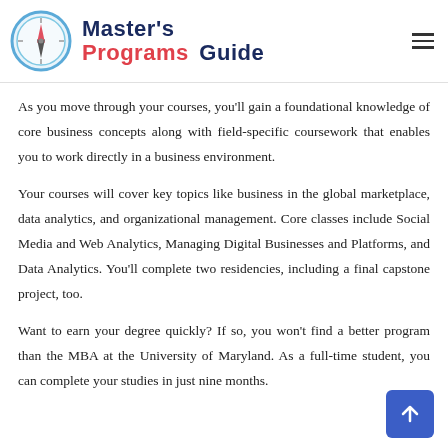Master's Programs Guide
As you move through your courses, you'll gain a foundational knowledge of core business concepts along with field-specific coursework that enables you to work directly in a business environment.
Your courses will cover key topics like business in the global marketplace, data analytics, and organizational management. Core classes include Social Media and Web Analytics, Managing Digital Businesses and Platforms, and Data Analytics. You'll complete two residencies, including a final capstone project, too.
Want to earn your degree quickly? If so, you won't find a better program than the MBA at the University of Maryland. As a full-time student, you can complete your studies in just nine months.